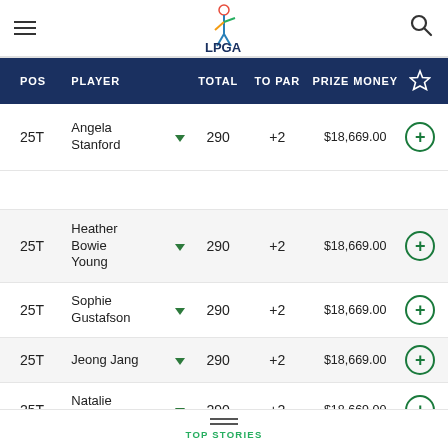LPGA
| POS | PLAYER | TOTAL | TO PAR | PRIZE MONEY |  |
| --- | --- | --- | --- | --- | --- |
| 25T | Angela Stanford | 290 | +2 | $18,669.00 | + |
| 25T | Heather Bowie Young | 290 | +2 | $18,669.00 | + |
| 25T | Sophie Gustafson | 290 | +2 | $18,669.00 | + |
| 25T | Jeong Jang | 290 | +2 | $18,669.00 | + |
| 25T | Natalie Gulbis | 290 | +2 | $18,669.00 | + |
| 25T | Sun Young | 290 | +2 | $18,669.00 | + |
TOP STORIES